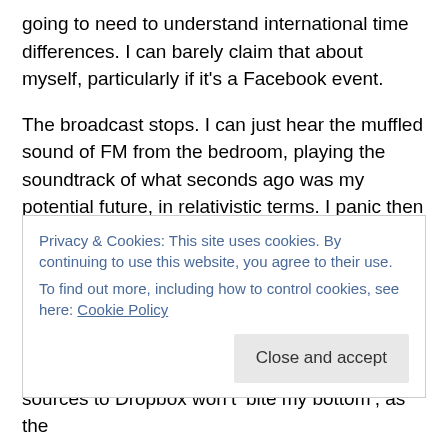going to need to understand international time differences. I can barely claim that about myself, particularly if it's a Facebook event.
The broadcast stops. I can just hear the muffled sound of FM from the bedroom, playing the soundtrack of what seconds ago was my potential future, in relativistic terms. I panic then relax. It's not a problem. I can time-shift the BBC again, ‘later’.
I check. I haven't lost WiFi, it's the bloody Internet! This IS serious. I do what any 21st century human would do under
Privacy & Cookies: This site uses cookies. By continuing to use this website, you agree to their use.
To find out more, including how to control cookies, see here: Cookie Policy
sources to Dropbox won’t ‘bite my bottom’, as the